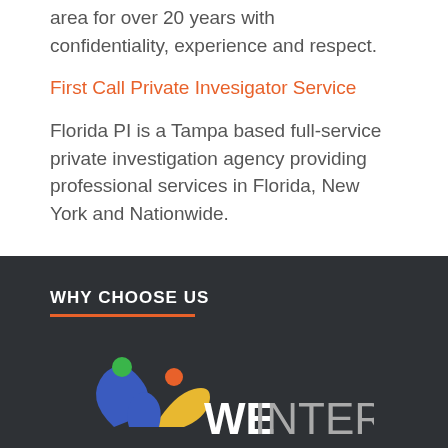area for over 20 years with confidentiality, experience and respect.
First Call Private Invesigator Service
Florida PI is a Tampa based full-service private investigation agency providing professional services in Florida, New York and Nationwide.
WHY CHOOSE US
[Figure (logo): We Interactive logo with colorful human figures and text WE INTERACTIVE]